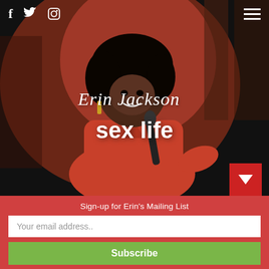[Figure (photo): Portrait photo of Erin Jackson, a comedian in a red shirt holding a microphone on a dark stage with warm pink/red lighting. Social media icons (Facebook, Twitter, Instagram) visible top-left. Hamburger menu top-right.]
Erin Jackson
sex life
Sign-up for Erin's Mailing List
Your email address..
Subscribe